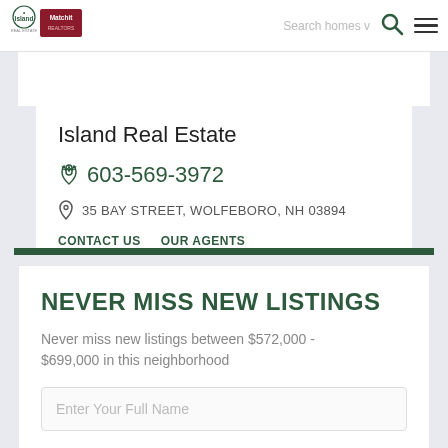Island Real Estate | Search homes | navigation
Island Real Estate
603-569-3972
35 BAY STREET, WOLFEBORO, NH 03894
CONTACT US   OUR AGENTS
NEVER MISS NEW LISTINGS
Never miss new listings between $572,000 - $699,000 in this neighborhood
Enter Your Full Name